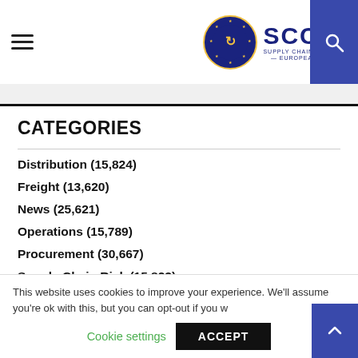SCCEU - Supply Chain Council of European Union
CATEGORIES
Distribution (15,824)
Freight (13,620)
News (25,621)
Operations (15,789)
Procurement (30,667)
Supply Chain Risk (15,823)
This website uses cookies to improve your experience. We'll assume you're ok with this, but you can opt-out if you w
Cookie settings    ACCEPT